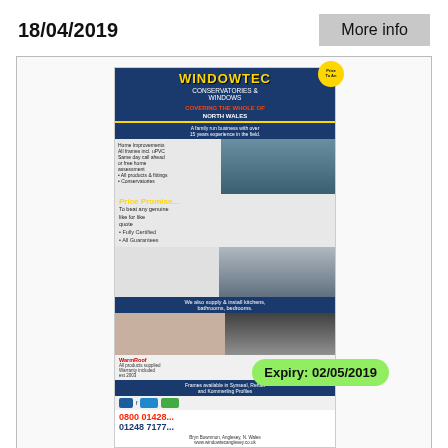18/04/2019
More info
[Figure (photo): Windowtec Conservatories & Windows advertisement showing conservatory images, price promise section, contact details with phone numbers 0800 01428... and 01248 717..., address in Bryn Bownmon, Anglesey, N. Wales, and expiry date badge showing 02/05/2019]
Expiry: 02/05/2019
25/04/2019
More info